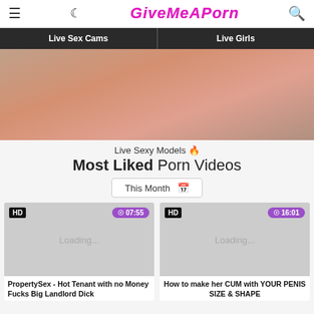GiveMeAPorn
Live Sex Cams | Live Girls
[Figure (photo): Cropped photo of a person, close-up body shot]
Live Sexy Models 🔥
Most Liked Porn Videos
This Month 📅
[Figure (screenshot): Video thumbnail loading placeholder, HD badge, duration 07:55]
[Figure (screenshot): Video thumbnail loading placeholder, HD badge, duration 16:01]
PropertySex - Hot Tenant with no Money Fucks Big Landlord Dick
How to make her CUM with YOUR PENIS SIZE & SHAPE